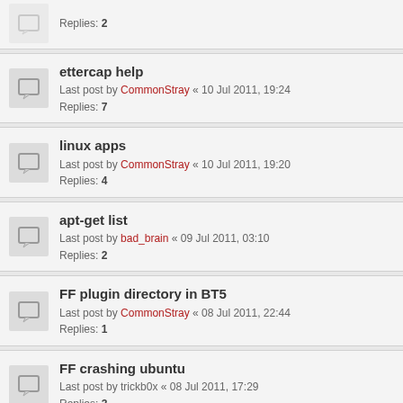Replies: 2
ettercap help
Last post by CommonStray « 10 Jul 2011, 19:24
Replies: 7
linux apps
Last post by CommonStray « 10 Jul 2011, 19:20
Replies: 4
apt-get list
Last post by bad_brain « 09 Jul 2011, 03:10
Replies: 2
FF plugin directory in BT5
Last post by CommonStray « 08 Jul 2011, 22:44
Replies: 1
FF crashing ubuntu
Last post by trickb0x « 08 Jul 2011, 17:29
Replies: 3
madwifi driver
Last post by bad_brain « 08 Jul 2011, 04:03
Replies: 5
how to apply a patch in linux
Last post by bad_brain « 05 Jul 2011, 11:11
Replies: 1
sslstrip
Last post by Kirk « 04 Jul 2011, 10:33
Replies: 4
Debian freezing
Last post by bad_brain « 11 Jun 2011, 06:29
Replies: ...